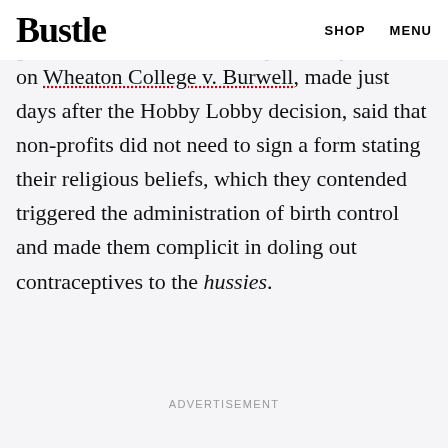Bustle | SHOP  MENU
out of providing birth control, which meant the government would foot the bill. A preliminary order on Wheaton College v. Burwell, made just days after the Hobby Lobby decision, said that non-profits did not need to sign a form stating their religious beliefs, which they contended triggered the administration of birth control and made them complicit in doling out contraceptives to the hussies.
ADVERTISEMENT